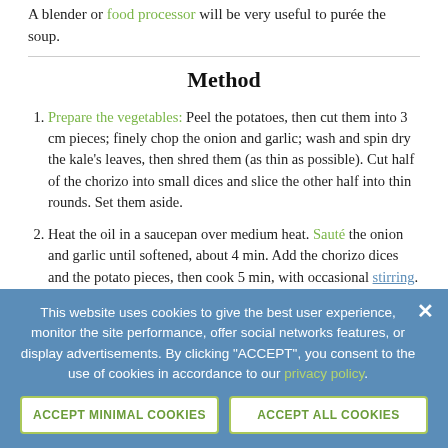A blender or food processor will be very useful to purée the soup.
Method
Prepare the vegetables: Peel the potatoes, then cut them into 3 cm pieces; finely chop the onion and garlic; wash and spin dry the kale's leaves, then shred them (as thin as possible). Cut half of the chorizo into small dices and slice the other half into thin rounds. Set them aside.
Heat the oil in a saucepan over medium heat. Sauté the onion and garlic until softened, about 4 min. Add the chorizo dices and the potato pieces, then cook 5 min, with occasional stirring. Add a little salt and pepper. Add
This website uses cookies to give the best user experience, monitor the site performance, offer social networks features, or display advertisements. By clicking "ACCEPT", you consent to the use of cookies in accordance to our privacy policy.